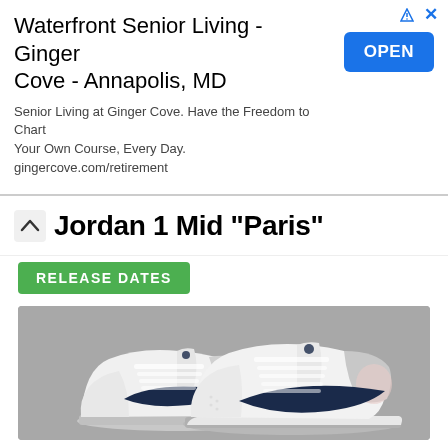[Figure (other): Advertisement banner for Waterfront Senior Living - Ginger Cove - Annapolis, MD with a blue OPEN button]
Waterfront Senior Living - Ginger Cove - Annapolis, MD
Senior Living at Ginger Cove. Have the Freedom to Chart Your Own Course, Every Day. gingercove.com/retirement
Jordan 1 Mid "Paris"
RELEASE DATES
[Figure (photo): Product photo of Jordan 1 Mid Paris sneakers - white leather with navy blue swoosh and grey accents, shown as a pair on grey background]